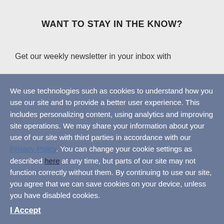WANT TO STAY IN THE KNOW?
Get our weekly newsletter in your inbox with
We use technologies such as cookies to understand how you use our site and to provide a better user experience. This includes personalizing content, using analytics and improving site operations. We may share your information about your use of our site with third parties in accordance with our Privacy Policy. You can change your cookie settings as described here at any time, but parts of our site may not function correctly without them. By continuing to use our site, you agree that we can save cookies on your device, unless you have disabled cookies.
I Accept